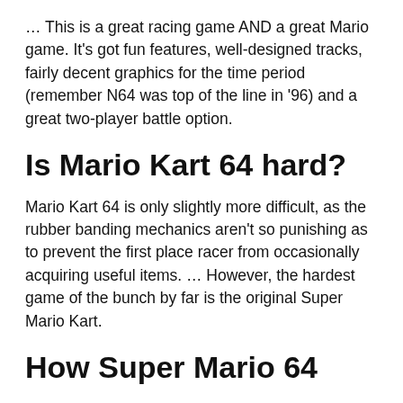… This is a great racing game AND a great Mario game. It's got fun features, well-designed tracks, fairly decent graphics for the time period (remember N64 was top of the line in '96) and a great two-player battle option.
Is Mario Kart 64 hard?
Mario Kart 64 is only slightly more difficult, as the rubber banding mechanics aren't so punishing as to prevent the first place racer from occasionally acquiring useful items. … However, the hardest game of the bunch by far is the original Super Mario Kart.
How Super Mario 64